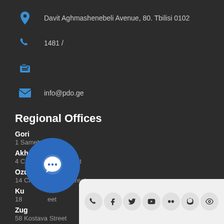Davit Aghmashenebeli Avenue, 80. Tbilisi 0102
1481 /
info@pdo.ge
Regional Offices
Gori
1 Sameba Street
Akhalkalaki
4 Chavchavadze street
Ozurgeti
14 Chavchavadze Street
Ku...
18... ...eet
Zugdidi
58 Kostava Street
[Figure (illustration): Blue circular chat bubble button with three dots icon]
[Figure (illustration): Social media icon bar on light grey background with phone, facebook, twitter, youtube, flickr, viber, and eye icons]